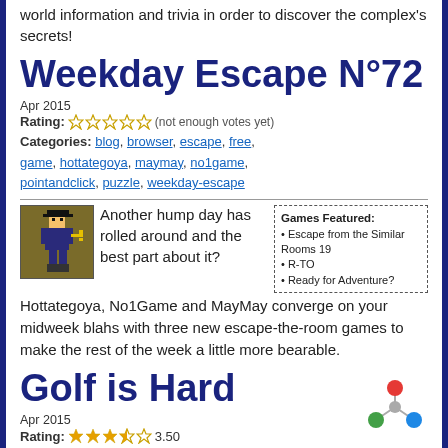world information and trivia in order to discover the complex's secrets!
Weekday Escape N°72
Apr 2015
Rating: ☆☆☆☆☆ (not enough votes yet)
Categories: blog, browser, escape, free, game, hottategoya, maymay, no1game, pointandclick, puzzle, weekday-escape
[Figure (illustration): Pixel art game character holding a key]
Another hump day has rolled around and the best part about it? Hottategoya, No1Game and MayMay converge on your midweek blahs with three new escape-the-room games to make the rest of the week a little more bearable.
Games Featured: • Escape from the Similar Rooms 19 • R-TO • Ready for Adventure?
Golf is Hard
Apr 2015
Rating: ★★★½ 3.50
Categories: android, browser